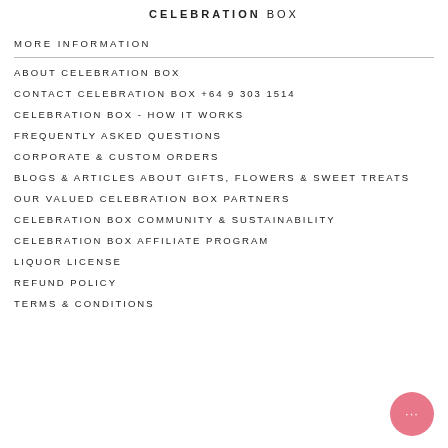CELEBRATION BOX
MORE INFORMATION
ABOUT CELEBRATION BOX
CONTACT CELEBRATION BOX +64 9 303 1514
CELEBRATION BOX - HOW IT WORKS
FREQUENTLY ASKED QUESTIONS
CORPORATE & CUSTOM ORDERS
BLOGS & ARTICLES ABOUT GIFTS, FLOWERS & SWEET TREATS
OUR VALUED CELEBRATION BOX PARTNERS
CELEBRATION BOX COMMUNITY & SUSTAINABILITY
CELEBRATION BOX AFFILIATE PROGRAM
LIQUOR LICENSE
REFUND POLICY
TERMS & CONDITIONS